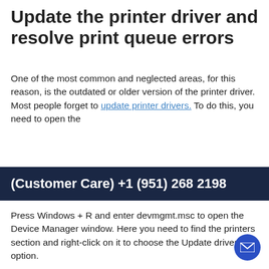Update the printer driver and resolve print queue errors
One of the most common and neglected areas, for this reason, is the outdated or older version of the printer driver. Most people forget to update printer drivers. To do this, you need to open the
(Customer Care) +1 (951) 268 2198
Press Windows + R and enter devmgmt.msc to open the Device Manager window. Here you need to find the printers section and right-click on it to choose the Update driver option.
Windows will automatically find the driver download files and update the driver. Hopefully, all of the above methods will fix Print Spooler